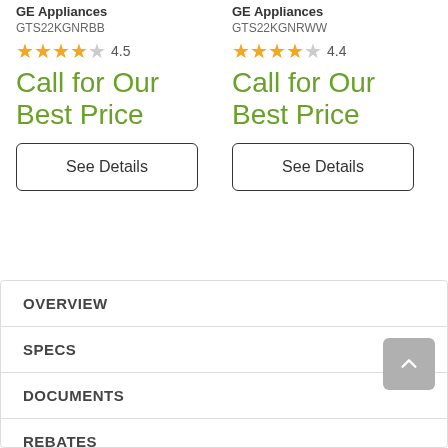GE Appliances
GTS22KGNRBB
4.5
Call for Our Best Price
See Details
GE Appliances
GTS22KGNRWW
4.4
Call for Our Best Price
See Details
OVERVIEW
SPECS
DOCUMENTS
REBATES